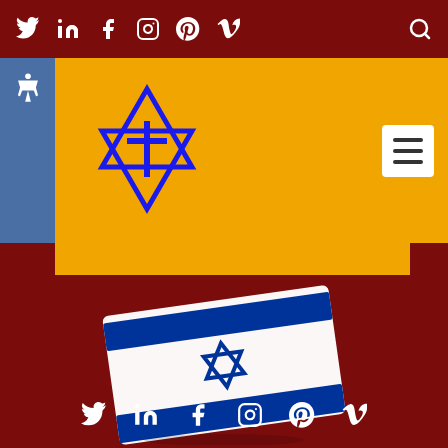[Figure (screenshot): Website header with dark red background showing social media icons (Twitter, LinkedIn, Facebook, Instagram, Pinterest, Vimeo) and a search icon on the top navigation bar]
[Figure (logo): Yellow header band with blue accessibility icon on left, Star of David with cross symbol (Messianic Jewish logo) in center, and hamburger menu on right]
[Figure (illustration): Israeli flag emoji - waving flag with blue and white horizontal stripes and Star of David in center]
[Figure (screenshot): Bottom social media icons bar with Twitter, LinkedIn, Facebook, Instagram, Pinterest, Vimeo icons in white on dark red background]